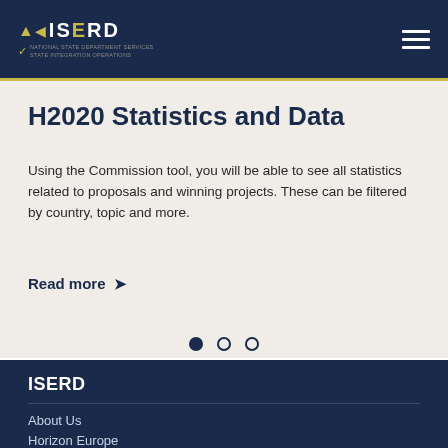ISERD navigation header with logo and hamburger menu
H2020 Statistics and Data
Using the Commission tool, you will be able to see all statistics related to proposals and winning projects. These can be filtered by country, topic and more.
Read more ▶
[Figure (other): Carousel navigation dots: one filled, two empty]
ISERD
About Us
Horizon Europe
European Partnerships in Horizon Europe